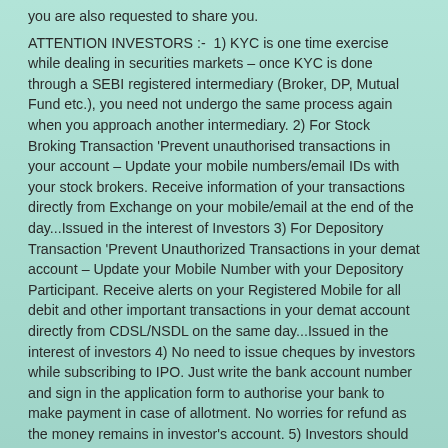you are also requested to share you.
ATTENTION INVESTORS :- 1) KYC is one time exercise while dealing in securities markets – once KYC is done through a SEBI registered intermediary (Broker, DP, Mutual Fund etc.), you need not undergo the same process again when you approach another intermediary. 2) For Stock Broking Transaction 'Prevent unauthorised transactions in your account – Update your mobile numbers/email IDs with your stock brokers. Receive information of your transactions directly from Exchange on your mobile/email at the end of the day...Issued in the interest of Investors 3) For Depository Transaction 'Prevent Unauthorized Transactions in your demat account – Update your Mobile Number with your Depository Participant. Receive alerts on your Registered Mobile for all debit and other important transactions in your demat account directly from CDSL/NSDL on the same day...Issued in the interest of investors 4) No need to issue cheques by investors while subscribing to IPO. Just write the bank account number and sign in the application form to authorise your bank to make payment in case of allotment. No worries for refund as the money remains in investor's account. 5) Investors should be cautious on unsolicited emails and SMS advising to buy, sell or hold securities and trade only on the basis of informed decision. Investors are